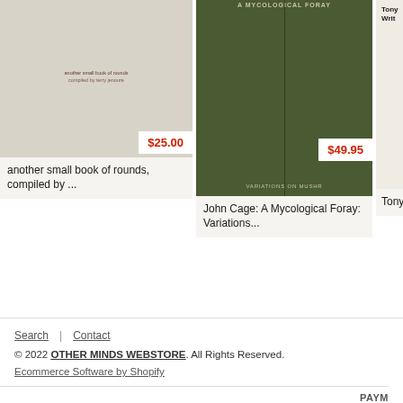[Figure (photo): Book cover: 'another small book of rounds, compiled by...' — beige/kraft paper cover with small text in center]
$25.00
another small book of rounds, compiled by ...
[Figure (photo): Book cover: 'John Cage: A Mycological Foray: Variations on Mushrooms' — dark olive green cover with vertical line]
$49.95
John Cage: A Mycological Foray: Variations...
[Figure (photo): Partial book cover: Tony Co... Writ... — cream/beige cover, partially cropped]
Tony Co...
Search | Contact
© 2022 OTHER MINDS WEBSTORE. All Rights Reserved. Ecommerce Software by Shopify
PAYM